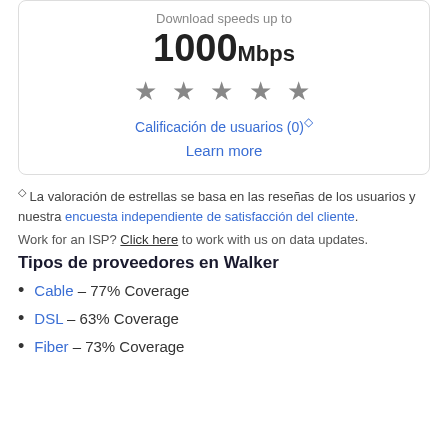Download speeds up to
1000Mbps
[Figure (other): Five filled grey stars rating display]
Calificación de usuarios (0)◇
Learn more
◇ La valoración de estrellas se basa en las reseñas de los usuarios y nuestra encuesta independiente de satisfacción del cliente.
Work for an ISP? Click here to work with us on data updates.
Tipos de proveedores en Walker
Cable — 77% Coverage
DSL — 63% Coverage
Fiber — 73% Coverage